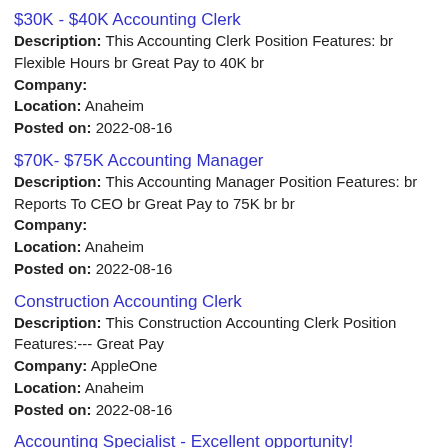$30K - $40K Accounting Clerk
Description: This Accounting Clerk Position Features: br Flexible Hours br Great Pay to 40K br
Company:
Location: Anaheim
Posted on: 2022-08-16
$70K- $75K Accounting Manager
Description: This Accounting Manager Position Features: br Reports To CEO br Great Pay to 75K br br
Company:
Location: Anaheim
Posted on: 2022-08-16
Construction Accounting Clerk
Description: This Construction Accounting Clerk Position Features:--- Great Pay
Company: AppleOne
Location: Anaheim
Posted on: 2022-08-16
Accounting Specialist - Excellent opportunity!
Description: This Accounting Specialist Position Features:
Company: Appleone
Location: Long Beach
Posted on: 2022-08-22